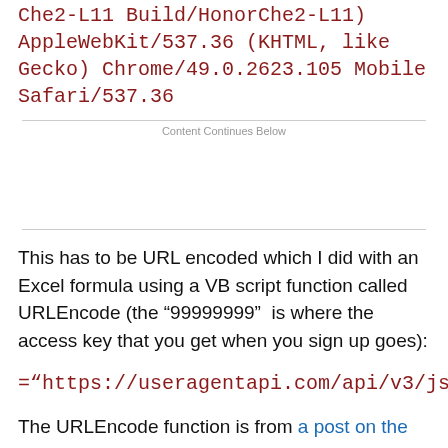Che2-L11 Build/HonorChe2-L11) AppleWebKit/537.36 (KHTML, like Gecko) Chrome/49.0.2623.105 Mobile Safari/537.36
Content Continues Below
This has to be URL encoded which I did with an Excel formula using a VB script function called URLEncode (the “99999999”  is where the access key that you get when you sign up goes):
="https://useragentapi.com/api/v3/json/9
The URLEncode function is from a post on the